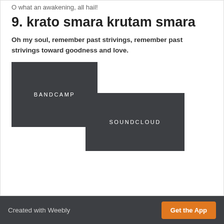O what an awakening, all hail!
9. krato smara krutam smara
Oh my soul, remember past strivings, remember past strivings toward goodness and love.
[Figure (other): Dark gray BANDCAMP button]
[Figure (other): Dark gray SOUNDCLOUD button]
Version:  Mobile | Web
Created with Weebly   Get the App